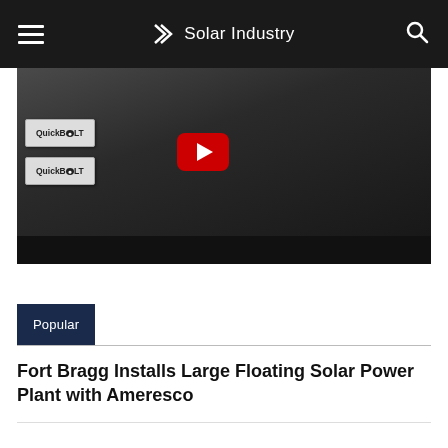Solar Industry
[Figure (screenshot): YouTube video thumbnail showing QuickBolt product boxes and a person, with a red YouTube play button in the center. Dark background with a black control bar at the bottom.]
Popular
Fort Bragg Installs Large Floating Solar Power Plant with Ameresco